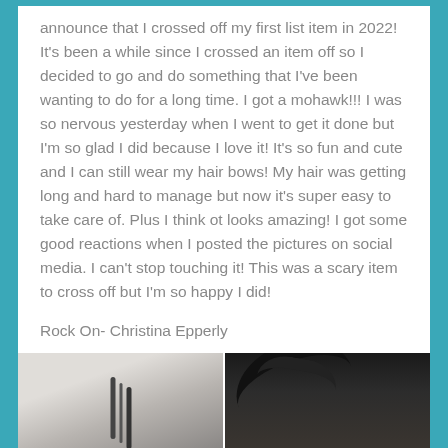announce that I crossed off my first list item in 2022! It's been a while since I crossed an item off so I decided to go and do something that I've been wanting to do for a long time. I got a mohawk!!! I was so nervous yesterday when I went to get it done but I'm so glad I did because I love it! It's so fun and cute and I can still wear my hair bows! My hair was getting long and hard to manage but now it's super easy to take care of. Plus I think ot looks amazing! I got some good reactions when I posted the pictures on social media. I can't stop touching it! This was a scary item to cross off but I'm so happy I did!
Rock On- Christina Epperly
[Figure (photo): Two side-by-side photos: left shows a light background with a thin dark object, right shows dark wild spiked hair (mohawk) against a dark background.]